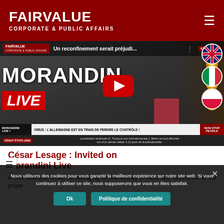FAIRVALUE CORPORATE & PUBLIC AFFAIRS
[Figure (screenshot): YouTube video thumbnail embedded on page: 'Un reconfinement serait préjudi...' on Morandini Live, showing a TV news broadcast with lower third headlines about Germany losing control of the virus and a US presidential debate between Trump and Biden.]
César Lesage : Invited on Morandini Live
A new lockdown would be damaging for the economic fabric and detrimental to the proper
Nous utilisons des cookies pour vous garantir la meilleure expérience sur notre site web. Si vous continuez à utiliser ce site, nous supposerons que vous en êtes satisfait.